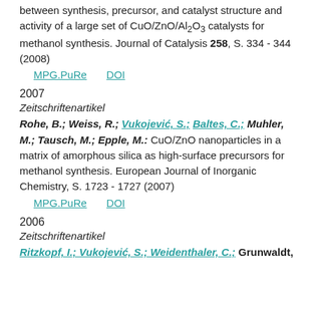between synthesis, precursor, and catalyst structure and activity of a large set of CuO/ZnO/Al₂O₃ catalysts for methanol synthesis. Journal of Catalysis 258, S. 334 - 344 (2008)
MPG.PuRe   DOI
2007
Zeitschriftenartikel
Rohe, B.; Weiss, R.; Vukojević, S.; Baltes, C.; Muhler, M.; Tausch, M.; Epple, M.: CuO/ZnO nanoparticles in a matrix of amorphous silica as high-surface precursors for methanol synthesis. European Journal of Inorganic Chemistry, S. 1723 - 1727 (2007)
MPG.PuRe   DOI
2006
Zeitschriftenartikel
Ritzkopf, I.; Vukojević, S.; Weidenthaler, C.; Grunwaldt,